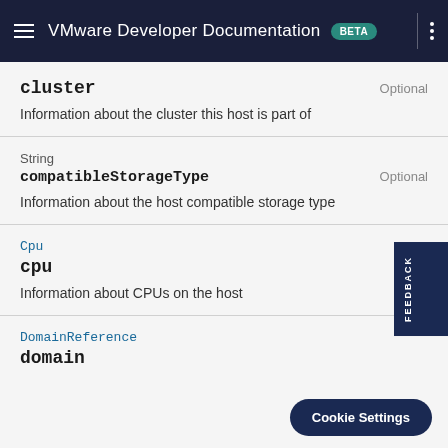VMware Developer Documentation BETA
cluster
Optional
Information about the cluster this host is part of
String
compatibleStorageType
Optional
Information about the host compatible storage type
Cpu
cpu
Optional
Information about CPUs on the host
DomainReference
domain
Cookie Settings